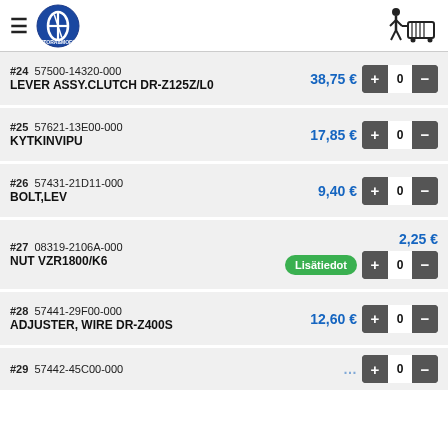PTORA&MOFO logo and navigation header with cart
#24 57500-14320-000 LEVER ASSY.CLUTCH DR-Z125Z/L0 38,75 €
#25 57621-13E00-000 KYTKINVIPU 17,85 €
#26 57431-21D11-000 BOLT,LEV 9,40 €
#27 08319-2106A-000 NUT VZR1800/K6 2,25 € Lisätiedot
#28 57441-29F00-000 ADJUSTER, WIRE DR-Z400S 12,60 €
#29 57442-45C00-000